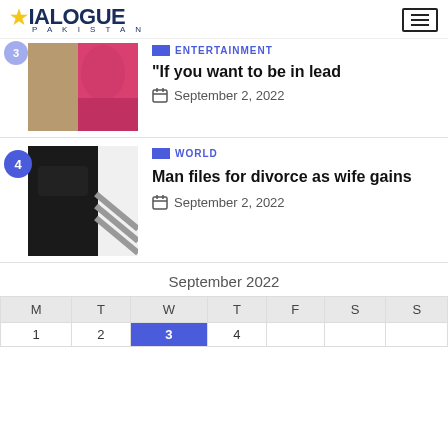DIALOGUE PAKISTAN
[Figure (screenshot): Article thumbnail showing two women, partially visible with a blue numbered badge showing partially cropped top article]
ENTERTAINMENT
“If you want to be in lead
September 2, 2022
[Figure (photo): Article thumbnail showing black items on white surface with diagonal stripes, with blue badge number 4]
WORLD
Man files for divorce as wife gains
September 2, 2022
September 2022
| M | T | W | T | F | S | S |
| --- | --- | --- | --- | --- | --- | --- |
| 1 | 2 | 3 | 4 |  |  |  |